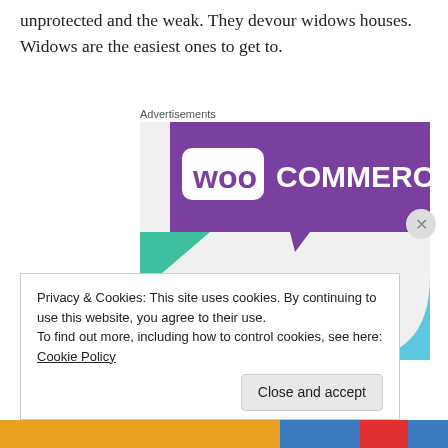unprotected and the weak. They devour widows houses. Widows are the easiest ones to get to.
Advertisements
[Figure (illustration): WooCommerce advertisement banner showing the WooCommerce logo on a purple background with geometric teal and blue shapes, and bold text reading 'How to start selling subscriptions online']
Privacy & Cookies: This site uses cookies. By continuing to use this website, you agree to their use.
To find out more, including how to control cookies, see here: Cookie Policy
Close and accept